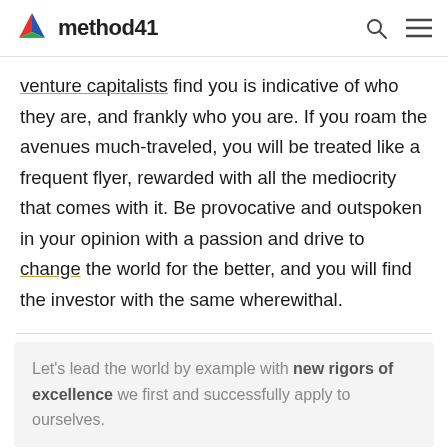method41 [logo] [search icon] [menu icon]
venture capitalists find you is indicative of who they are, and frankly who you are. If you roam the avenues much-traveled, you will be treated like a frequent flyer, rewarded with all the mediocrity that comes with it. Be provocative and outspoken in your opinion with a passion and drive to change the world for the better, and you will find the investor with the same wherewithal.
Let's lead the world by example with new rigors of excellence we first and successfully apply to ourselves.